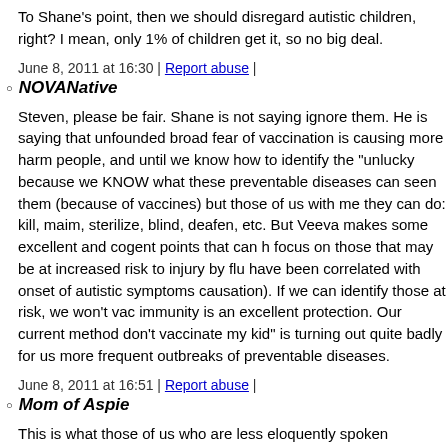To Shane's point, then we should disregard autistic children, right? I mean, only 1% of children get it, so no big deal.
June 8, 2011 at 16:30 | Report abuse |
NOVANative
Steven, please be fair. Shane is not saying ignore them. He is saying that unfounded broad fear of vaccination is causing more harm to more people, and until we know how to identify the "unlucky few" because we KNOW what these preventable diseases can and have been seen them (because of vaccines) but those of us with medical training know they can do: kill, maim, sterilize, blind, deafen, etc. But I digress. Veeva makes some excellent and cogent points that can help us to focus on those that may be at increased risk to injury by vaccines (ie, flu have been correlated with onset of autistic symptoms, although not causation). If we can identify those at risk, we won't vaccinate them, herd immunity is an excellent protection. Our current method of "I just don't vaccinate my kid" is turning out quite badly for us as a society, with more frequent outbreaks of preventable diseases.
June 8, 2011 at 16:51 | Report abuse |
Mom of Aspie
This is what those of us who are less eloquently spoken
June 8, 2011 at 17:00 | Report abuse |